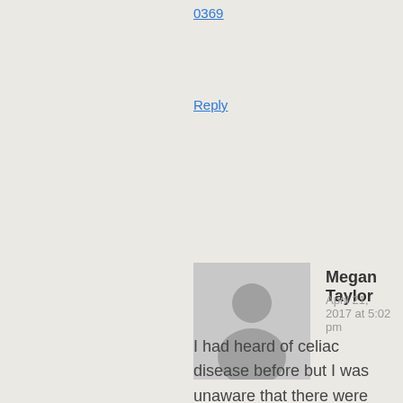0369
Reply
[Figure (illustration): Generic user avatar silhouette on grey background]
Megan Taylor
April 21, 2017 at 5:02 pm
I had heard of celiac disease before but I was unaware that there were other gluten related disorders. After reading your post, I agree that there needs to be more research into these disorders as well. In a study by Unde et al., they attempted to identify markers for systemic immune activation in wheat